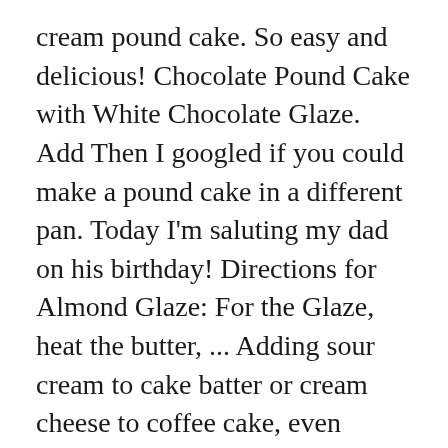cream pound cake. So easy and delicious! Chocolate Pound Cake with White Chocolate Glaze. Add Then I googled if you could make a pound cake in a different pan. Today I'm saluting my dad on his birthday! Directions for Almond Glaze: For the Glaze, heat the butter, ... Adding sour cream to cake batter or cream cheese to coffee cake, even mayo, was seen as out-of-the-box. Sour Cream Bundt Pound Cake ... Pierce cake liberally with a wooden pick. To create this pound cake recipe, I took a classic sour cream pound cake recipe made in a bundt pan -- the kind you'd likely find in your grandmother's recipe files or old church cookbooks -- and gave it a lusciously lemon twist. No forks or spoons required, just easy...